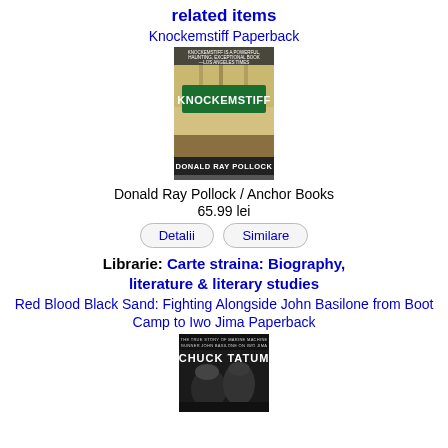related items
Knockemstiff Paperback
[Figure (photo): Book cover of Knockemstiff by Donald Ray Pollock, showing a green road sign reading KNOCKEMSTIFF, published by Anchor Books]
Donald Ray Pollock / Anchor Books
65.99 lei
Detalii   Similare
Librarie: Carte straina: Biography, literature & literary studies
Red Blood Black Sand: Fighting Alongside John Basilone from Boot Camp to Iwo Jima Paperback
[Figure (photo): Book cover of Red Blood Black Sand by Chuck Tatum, showing soldiers in black and white war imagery]